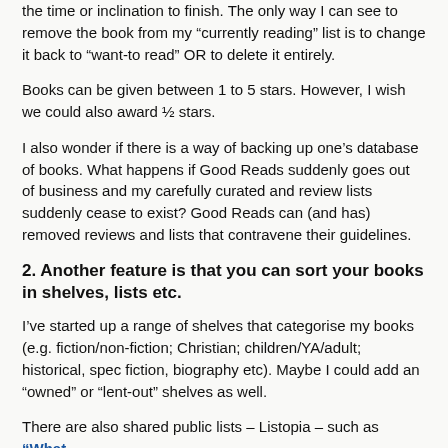the time or inclination to finish. The only way I can see to remove the book from my “currently reading” list is to change it back to “want-to read” OR to delete it entirely.
Books can be given between 1 to 5 stars. However, I wish we could also award ½ stars.
I also wonder if there is a way of backing up one’s database of books. What happens if Good Reads suddenly goes out of business and my carefully curated and review lists suddenly cease to exist? Good Reads can (and has) removed reviews and lists that contravene their guidelines.
2. Another feature is that you can sort your books in shelves, lists etc.
I’ve started up a range of shelves that categorise my books (e.g. fiction/non-fiction; Christian; children/YA/adult; historical, spec fiction, biography etc). Maybe I could add an “owned” or “lent-out” shelves as well.
There are also shared public lists – Listopia – such as “What